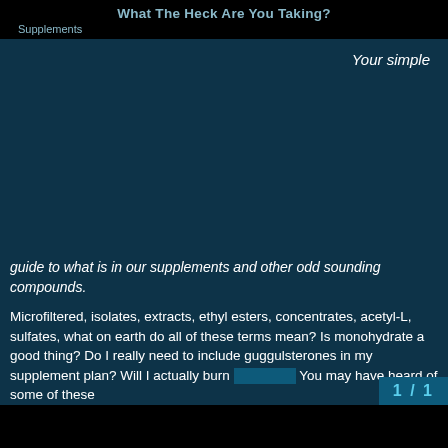What The Heck Are You Taking?
Supplements
Your simple
guide to what is in our supplements and other odd sounding compounds.
Microfiltered, isolates, extracts, ethyl esters, concentrates, acetyl-L, sulfates, what on earth do all of these terms mean? Is monohydrate a good thing? Do I really need to include guggulsterones in my supplement plan? Will I actually burn ... You may have heard of some of these
1 / 1